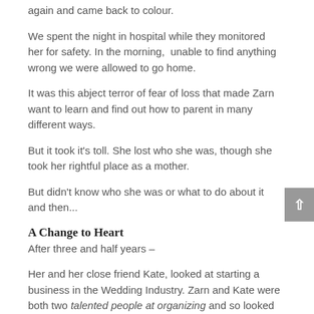again and came back to colour.
We spent the night in hospital while they monitored her for safety. In the morning,  unable to find anything wrong we were allowed to go home.
It was this abject terror of fear of loss that made Zarn want to learn and find out how to parent in many different ways.
But it took it's toll. She lost who she was, though she took her rightful place as a mother.
But didn't know who she was or what to do about it and then...
A Change to Heart
After three and half years –
Her and her close friend Kate, looked at starting a business in the Wedding Industry. Zarn and Kate were both two talented people at organizing and so looked